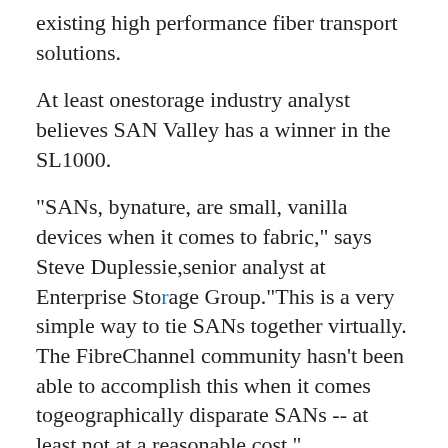existing high performance fiber transport solutions.
At least onestorage industry analyst believes SAN Valley has a winner in the SL1000.
"SANs, bynature, are small, vanilla devices when it comes to fabric," says Steve Duplessie,senior analyst at Enterprise Storage Group."This is a very simple way to tie SANs together virtually. The FibreChannel community hasn't been able to accomplish this when it comes togeographically disparate SANs -- at least not at a reasonable cost."
Walsworth saysthe SL1000 seamlessly interconnects SAN switches and storage islands across IPnetworks up to 100 kilometers with more than 4 Gbps of throughput without anymicroprocessor interruptions, all in a one-rack unit. It's operated by a Java-based,platform-independent network management system. The product supports backup andstorage mirroring applications in